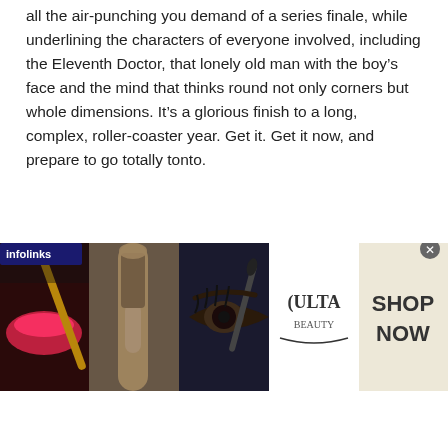all the air-punching you demand of a series finale, while underlining the characters of everyone involved, including the Eleventh Doctor, that lonely old man with the boy's face and the mind that thinks round not only corners but whole dimensions. It's a glorious finish to a long, complex, roller-coaster year. Get it. Get it now, and prepare to go totally tonto.
Tony Fyler lives in a cave of wall-to-wall DVDs and Blu-Rays somewhere fairly nondescript in Wales, and never goes out to meet the "Real People". Who, Torchwood, Sherlock, Blake, Treks, Star Wars, obscure rom the 70s and 80s and comedy from the dawn
[Figure (other): Ulta Beauty advertisement banner showing makeup-related photos (lips with brush, eye with brush, dramatic eye makeup, Ulta Beauty logo, smoky eye) with 'SHOP NOW' text and infolinks overlay badge]